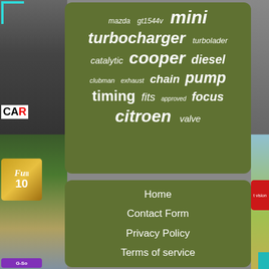[Figure (infographic): Word cloud / tag cloud on green background showing automotive-related keywords in varying sizes. Words include: mini, turbocharger, gt1544v, mazda, turbolader, catalytic, cooper, diesel, clubman, exhaust, chain, pump, timing, fits, approved, focus, citroen, valve]
[Figure (infographic): Navigation menu on olive-green rounded rectangle background with links: Home, Contact Form, Privacy Policy, Terms of service]